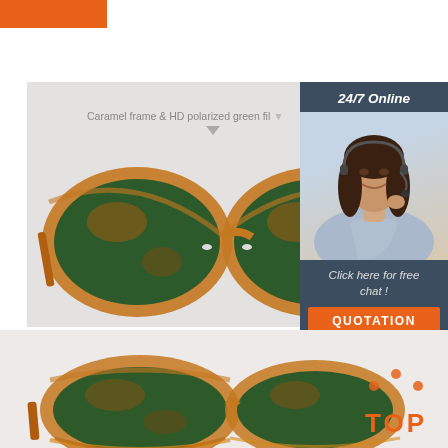[Figure (illustration): Orange rectangle brand bar at top left]
[Figure (photo): Product photo area with light gray background showing caramel frame sunglasses with HD polarized green film lenses, front top view]
Caramel frame & HD polarized green fil
[Figure (photo): 24/7 Online customer service sidebar with photo of smiling woman with headset, dark blue background, with 'Click here for free chat!' text and orange QUOTATION button]
24/7 Online
Click here for free chat !
QUOTATION
[Figure (photo): Bottom product photo area showing caramel frame sunglasses with green lenses, angled side view]
[Figure (logo): TOP badge with orange dots arranged in arc above word TOP in orange]